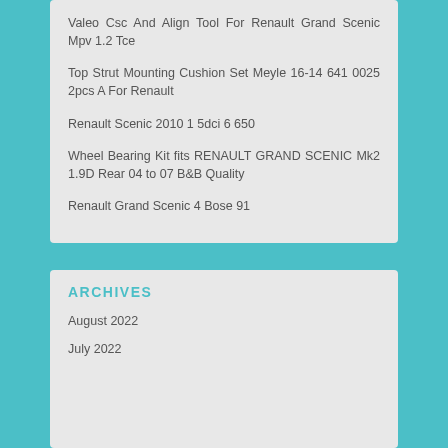Valeo Csc And Align Tool For Renault Grand Scenic Mpv 1.2 Tce
Top Strut Mounting Cushion Set Meyle 16-14 641 0025 2pcs A For Renault
Renault Scenic 2010 1 5dci 6 650
Wheel Bearing Kit fits RENAULT GRAND SCENIC Mk2 1.9D Rear 04 to 07 B&B Quality
Renault Grand Scenic 4 Bose 91
ARCHIVES
August 2022
July 2022